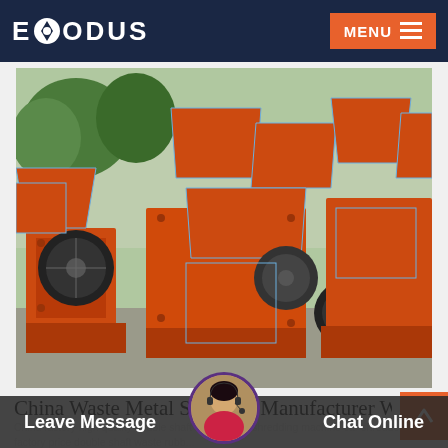EXODUS | MENU
[Figure (photo): Orange industrial metal shredder machines with blue-outlined input hoppers, displayed outdoors in a factory yard. Multiple units shown with large flywheels and belt-driven mechanisms.]
China Waste Metal Shredder Manufacturer Waste
China factory high quality double shaft metal scrap shredding machine car shredder factory price double shaft waste rubb...
Leave Message | Chat Online